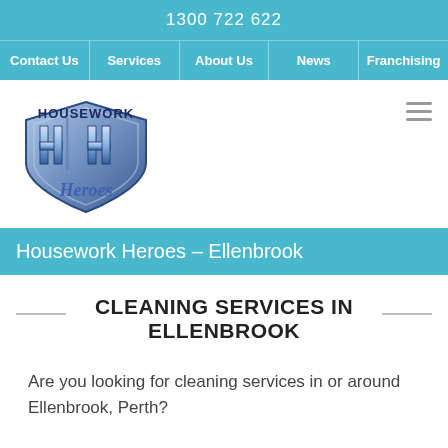1300 722 622
Contact Us | Services | About Us | News | Franchising
[Figure (logo): Housework Heroes logo: shield shape with stylized HH letters and Heroes script text in blue tones]
Housework Heroes – Ellenbrook
CLEANING SERVICES IN ELLENBROOK
Are you looking for cleaning services in or around Ellenbrook, Perth?